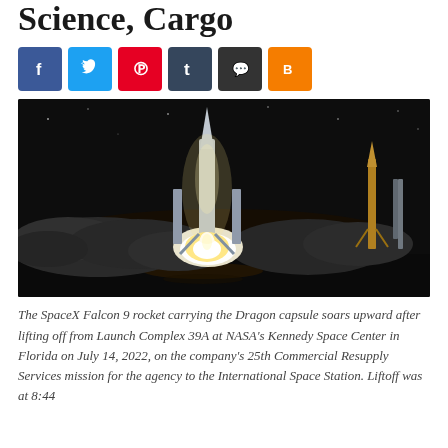Science, Cargo
[Figure (photo): SpaceX Falcon 9 rocket launching at night from Kennedy Space Center, with bright exhaust plume and large cloud of smoke. Another rocket structure visible on the right side of the image.]
The SpaceX Falcon 9 rocket carrying the Dragon capsule soars upward after lifting off from Launch Complex 39A at NASA's Kennedy Space Center in Florida on July 14, 2022, on the company's 25th Commercial Resupply Services mission for the agency to the International Space Station. Liftoff was at 8:44